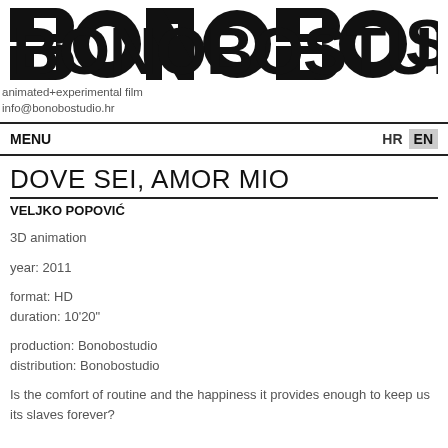[Figure (logo): BONOBOSTUDIO logo in bold black custom lettering]
animated+experimental film
info@bonobostudio.hr
MENU    HR  EN
DOVE SEI, AMOR MIO
VELJKO POPOVIĆ
3D animation
year: 2011
format: HD
duration: 10'20"
production: Bonobostudio
distribution: Bonobostudio
Is the comfort of routine and the happiness it provides enough to keep us its slaves forever?